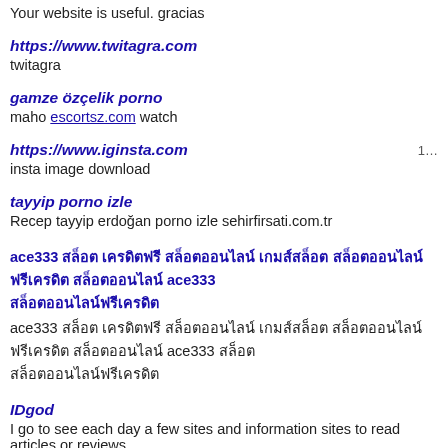Your website is useful. gracias
https://www.twitagra.com
twitagra
gamze özçelik porno
maho escortsz.com watch
https://www.iginsta.com
insta image download
tayyip porno izle
Recep tayyip erdoğan porno izle sehirfirsati.com.tr
ace333 สล็อต เครดิตฟรี สล็อตออนไลน์ เกมส์สล็อต สล็อตออนไลน์ฟรีเครดิต สล็อตออนไลน์ ace333 สล็อตออนไลน์ฟรีเครดิต
ace333 สล็อต เครดิตฟรี สล็อตออนไลน์ เกมส์สล็อต สล็อตออนไลน์ฟรีเครดิต สล็อตออนไลน์ ace333 สล็อต สล็อตออนไลน์ฟรีเครดิต
IDgod
I go to see each day a few sites and information sites to read articles or reviews, weblog gives quality based posts.